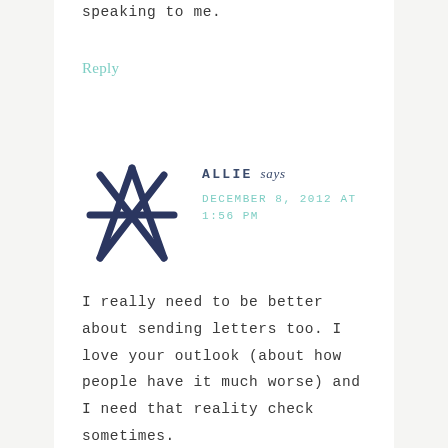speaking to me.
Reply
[Figure (illustration): Hand-drawn star/asterisk avatar icon in dark navy blue]
ALLIE says
DECEMBER 8, 2012 AT 1:56 PM
I really need to be better about sending letters too. I love your outlook (about how people have it much worse) and I need that reality check sometimes.